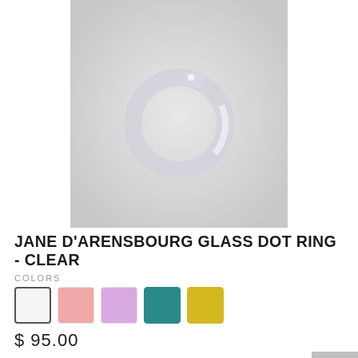[Figure (photo): A clear glass ring with a small dot/ball accent on a light gray background]
JANE D'ARENSBOURG GLASS DOT RING - CLEAR
COLORS
$ 95.00
or 4 interest-free payments of $23.75 with afterpay
SIZE